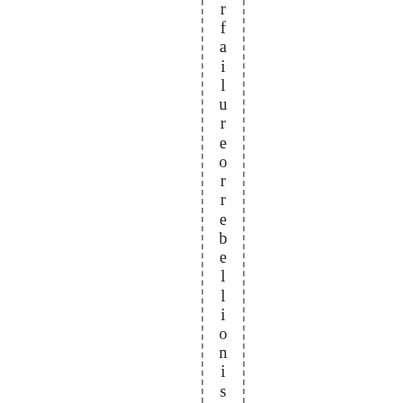rfailure or rebellion is supposed to